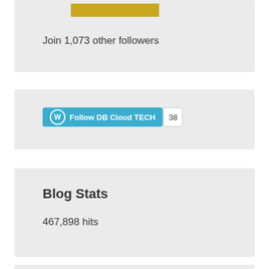[Figure (other): Gold/yellow rectangular bar widget element at top of a sidebar widget box]
Join 1,073 other followers
[Figure (other): WordPress Follow button labeled 'Follow DB Cloud TECH' in blue with a count badge showing 38]
Blog Stats
467,898 hits